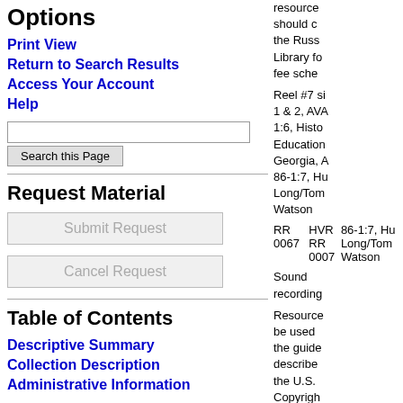Options
Print View
Return to Search Results
Access Your Account
Help
Request Material
Submit Request
Cancel Request
Table of Contents
Descriptive Summary
Collection Description
Administrative Information
resource should c the Russ Library fo fee sche
Reel #7 si 1 & 2, AVA 1:6, Histo Education Georgia, A 86-1:7, Hu Long/Tom Watson
| RR | HVR RR | description |
| --- | --- | --- |
| RR 0067 | HVR RR 0007 | 86-1:7, Hu Long/Tom Watson |
Sound recording
Resource be used the guide describe the U.S. Copyrigh Office in Section 1 Title 17, United S Code (Fa use). Par intereste